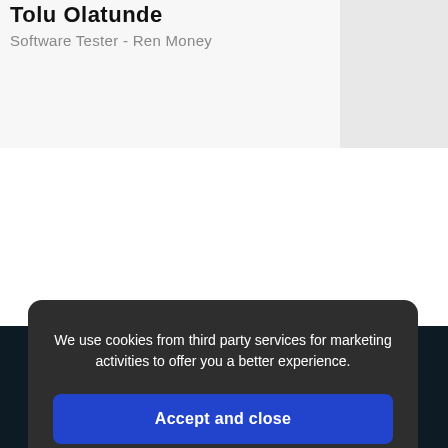Tolu Olatunde
Software Tester - Ren Money
[Figure (infographic): Carousel navigation dots: one active (darker, wider) and six inactive (lighter, narrower) dots in a horizontal row]
We use cookies from third party services for marketing activities to offer you a better experience.
Accept and close